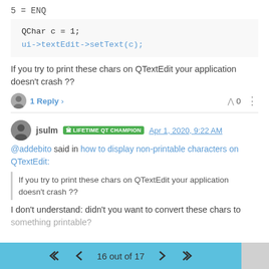5 = ENQ
QChar c = 1;
ui->textEdit->setText(c);
If you try to print these chars on QTextEdit your application doesn't crash ??
1 Reply >   ^ 0  ⋮
jsulm  LIFETIME QT CHAMPION  Apr 1, 2020, 9:22 AM
@addebito said in how to display non-printable characters on QTextEdit:
If you try to print these chars on QTextEdit your application doesn't crash ??
I don't understand: didn't you want to convert these chars to something printable?
16 out of 17